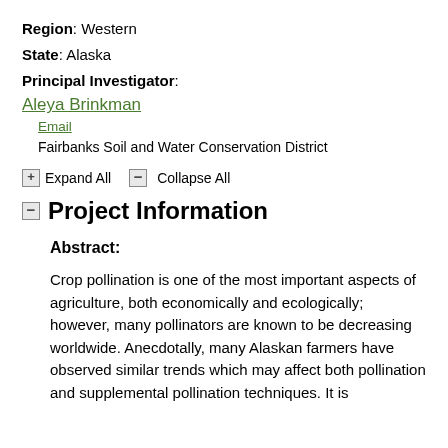Region: Western
State: Alaska
Principal Investigator:
Aleya Brinkman
Email
Fairbanks Soil and Water Conservation District
Expand All   Collapse All
Project Information
Abstract:
Crop pollination is one of the most important aspects of agriculture, both economically and ecologically; however, many pollinators are known to be decreasing worldwide. Anecdotally, many Alaskan farmers have observed similar trends which may affect both pollination and supplemental pollination techniques. It is